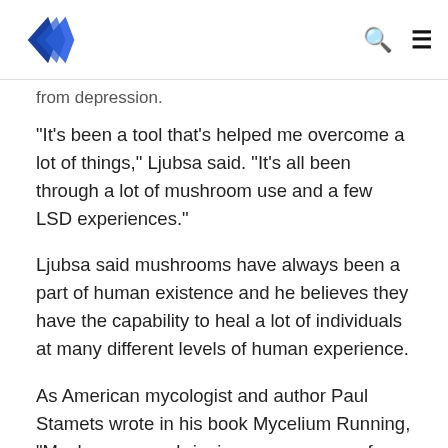[Logo] [Search icon] [Menu icon]
from depression.
“It’s been a tool that’s helped me overcome a lot of things,” Ljubsa said. “It’s all been through a lot of mushroom use and a few LSD experiences.”
Ljubsa said mushrooms have always been a part of human existence and he believes they have the capability to heal a lot of individuals at many different levels of human experience.
As American mycologist and author Paul Stamets wrote in his book Mycelium Running, “Mushrooms are bringing us a message from nature.”
Adam Eidinger is an alumni member of American University and the treasurer for Decriminalize Nature D.C. He said to not decriminalize the plants would not only be counter-intuitive but would also